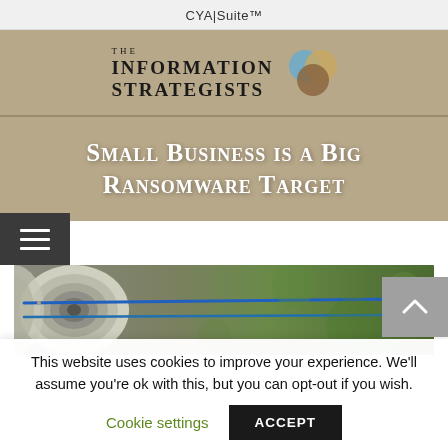CYA|Suite™
[Figure (logo): The Information Strategists logo with overlapping blue, tan, and brown circles]
Small Business is a Big Ransomware Target
[Figure (photo): Close-up photo of arrows (blue and yellow fletching) stuck in an archery target, with blurred green background]
This website uses cookies to improve your experience. We'll assume you're ok with this, but you can opt-out if you wish.
Cookie settings    ACCEPT